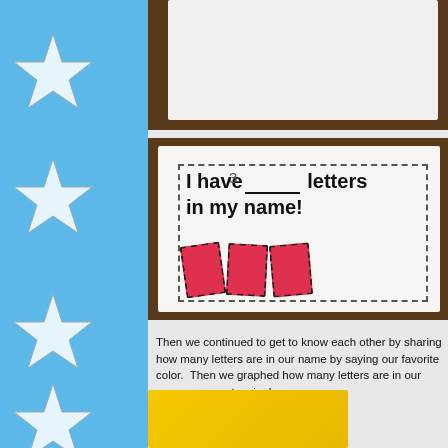[Figure (photo): Photo of white paper sheets on a wooden table surface, viewed from above]
[Figure (photo): Photo of a worksheet on white paper reading 'I have _3_ letters in my name!' with three pink/red letter cards placed below the text, on a wooden table]
Then we continued to get to know each other by sharing how many letters are in our name by saying our favorite color. Then we graphed how many letters are in our name as an extension!
[Figure (photo): Partial photo showing a yellow background with illustrated classroom scene and children]